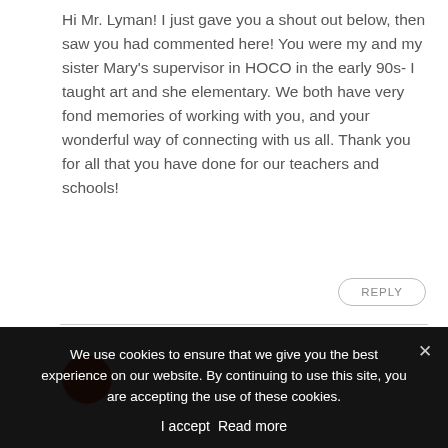Hi Mr. Lyman! I just gave you a shout out below, then saw you had commented here! You were my and my sister Mary's supervisor in HOCO in the early 90s- I taught art and she elementary. We both have very fond memories of working with you, and your wonderful way of connecting with us all. Thank you for all that you have done for our teachers and schools!
REPLY
We use cookies to ensure that we give you the best experience on our website. By continuing to use this site, you are accepting the use of these cookies.
I accept   Read more